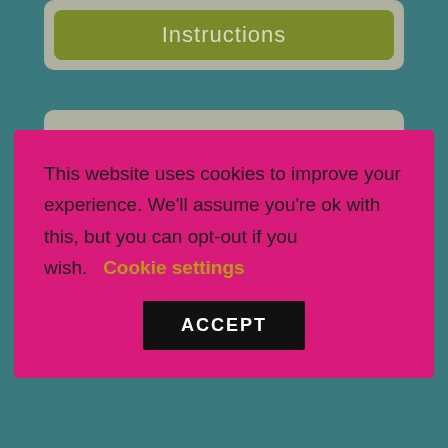Instructions
This website uses cookies to improve your experience. We'll assume you're ok with this, but you can opt-out if you wish. Cookie settings
ACCEPT